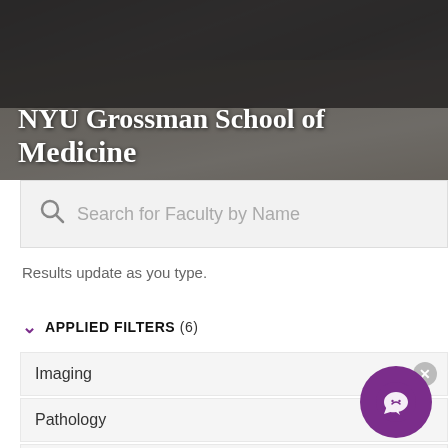[Figure (photo): Hero image of NYU Grossman School of Medicine showing people in medical coats from overhead angle, with dark overlay and large white title text]
Search for Faculty by Name
Results update as you type.
APPLIED FILTERS (6)
Imaging
Pathology
Human